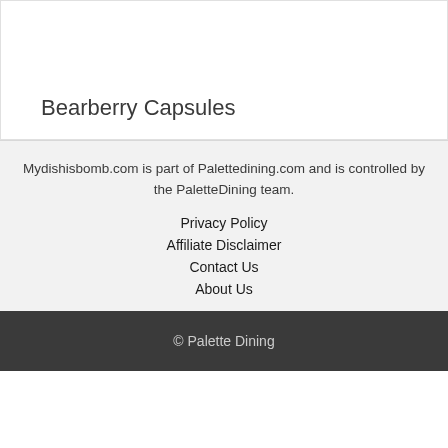Bearberry Capsules
Mydishisbomb.com is part of Palettedining.com and is controlled by the PaletteDining team.
Privacy Policy
Affiliate Disclaimer
Contact Us
About Us
© Palette Dining